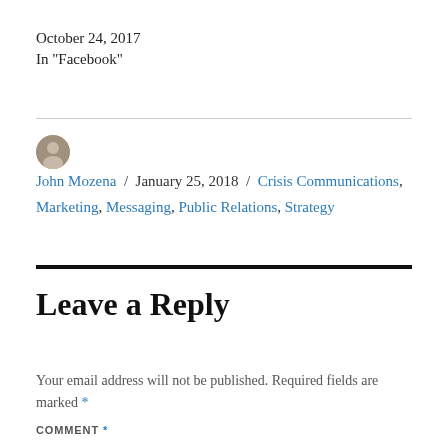October 24, 2017
In "Facebook"
John Mozena / January 25, 2018 / Crisis Communications, Marketing, Messaging, Public Relations, Strategy
Leave a Reply
Your email address will not be published. Required fields are marked *
COMMENT *